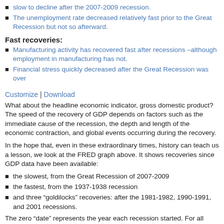slow to decline after the 2007-2009 recession.
The unemployment rate decreased relatively fast prior to the Great Recession but not so afterward.
Fast recoveries:
Manufacturing activity has recovered fast after recessions –although employment in manufacturing has not.
Financial stress quickly decreased after the Great Recession was over
Customize | Download
What about the headline economic indicator, gross domestic product? The speed of the recovery of GDP depends on factors such as the immediate cause of the recession, the depth and length of the economic contraction, and global events occurring during the recovery.
In the hope that, even in these extraordinary times, history can teach us a lesson, we look at the FRED graph above. It shows recoveries since GDP data have been available:
the slowest, from the Great Recession of 2007-2009
the fastest, from the 1937-1938 recession
and three “goldilocks” recoveries: after the 1981-1982, 1990-1991, and 2001 recessions.
The zero “date” represents the year each recession started. For all